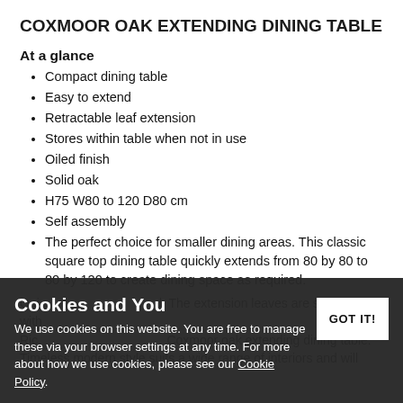COXMOOR OAK EXTENDING DINING TABLE
At a glance
Compact dining table
Easy to extend
Retractable leaf extension
Stores within table when not in use
Oiled finish
Solid oak
H75 W80 to 120 D80 cm
Self assembly
The perfect choice for smaller dining areas. This classic square top dining table quickly extends from 80 by 80 to 80 by 120 to create dining space as required.
Quick and easy to extend. The extension leaves are stored within the table when not in use.
Rich oil finish protects the Coxmoor oak extending dining table.
Timeless modern style suits a wide range of interiors and will
Cookies and You
We use cookies on this website. You are free to manage these via your browser settings at any time. For more about how we use cookies, please see our Cookie Policy.